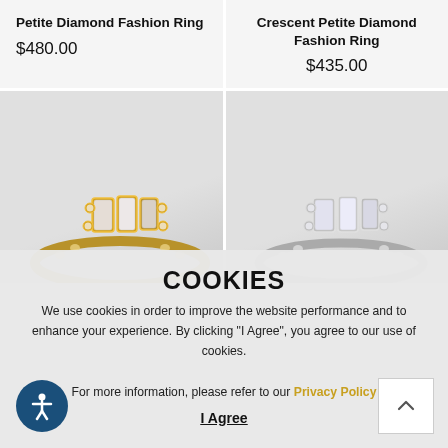Petite Diamond Fashion Ring
$480.00
Crescent Petite Diamond Fashion Ring
$435.00
[Figure (photo): Gold diamond fashion ring with baguette center stones and pave band]
[Figure (photo): White gold/platinum diamond fashion ring with baguette center stones and pave band]
COOKIES
We use cookies in order to improve the website performance and to enhance your experience. By clicking "I Agree", you agree to our use of cookies.

For more information, please refer to our Privacy Policy
I Agree